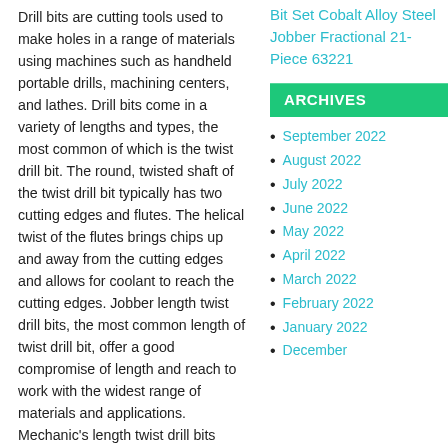Drill bits are cutting tools used to make holes in a range of materials using machines such as handheld portable drills, machining centers, and lathes. Drill bits come in a variety of lengths and types, the most common of which is the twist drill bit. The round, twisted shaft of the twist drill bit typically has two cutting edges and flutes. The helical twist of the flutes brings chips up and away from the cutting edges and allows for coolant to reach the cutting edges. Jobber length twist drill bits, the most common length of twist drill bit, offer a good compromise of length and reach to work with the widest range of materials and applications. Mechanic's length twist drill bits (also called maintenance length) are a little shorter than jobber
Bit Set Cobalt Alloy Steel Jobber Fractional 21-Piece 63221
ARCHIVES
September 2022
August 2022
July 2022
June 2022
May 2022
April 2022
March 2022
February 2022
January 2022
December